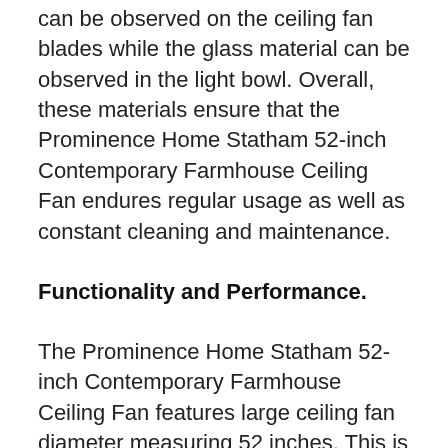can be observed on the ceiling fan blades while the glass material can be observed in the light bowl. Overall, these materials ensure that the Prominence Home Statham 52-inch Contemporary Farmhouse Ceiling Fan endures regular usage as well as constant cleaning and maintenance.
Functionality and Performance.
The Prominence Home Statham 52-inch Contemporary Farmhouse Ceiling Fan features large ceiling fan diameter measuring 52 inches. This is perfect for average sized rooms that measure between 12 by 12 feet to 18 by 18 feet in size. With its 52-inch capacity, it can effectively distribute...